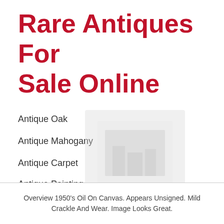Rare Antiques For Sale Online
Antique Oak
Antique Mahogany
Antique Carpet
Antique Painting
Antique Glass
Antique Plate
[Figure (other): Faded watermark image of an antique painting item, with overlay text: Antique Circus Carnaval Oil Painting, Amusement Park Modernism, Expressionism]
Overview 1950's Oil On Canvas. Appears Unsigned. Mild Crackle And Wear. Image Looks Great.